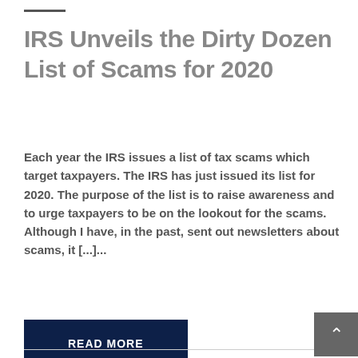IRS Unveils the Dirty Dozen List of Scams for 2020
Each year the IRS issues a list of tax scams which target taxpayers. The IRS has just issued its list for 2020. The purpose of the list is to raise awareness and to urge taxpayers to be on the lookout for the scams. Although I have, in the past, sent out newsletters about scams, it [...]...
READ MORE